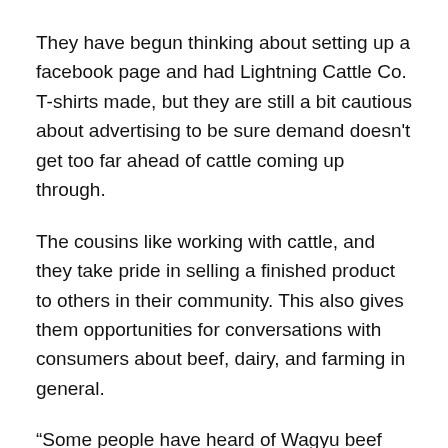They have begun thinking about setting up a facebook page and had Lightning Cattle Co. T-shirts made, but they are still a bit cautious about advertising to be sure demand doesn't get too far ahead of cattle coming up through.
The cousins like working with cattle, and they take pride in selling a finished product to others in their community. This also gives them opportunities for conversations with consumers about beef, dairy, and farming in general.
“Some people have heard of Wagyu beef from Japan. Some have heard you could pay $200 for a fancy 12-ounce steak, and some people don’t know much about it at all,” says Ben about the learning curve and the way crossbreeding makes this beef more economically accessible.